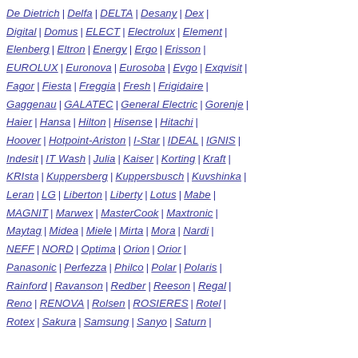De Dietrich | Delfa | DELTA | Desany | Dex |
Digital | Domus | ELECT | Electrolux | Element |
Elenberg | Eltron | Energy | Ergo | Erisson |
EUROLUX | Euronova | Eurosoba | Evgo | Exqvisit |
Fagor | Fiesta | Freggia | Fresh | Frigidaire |
Gaggenau | GALATEC | General Electric | Gorenje |
Haier | Hansa | Hilton | Hisense | Hitachi |
Hoover | Hotpoint-Ariston | I-Star | IDEAL | IGNIS |
Indesit | IT Wash | Julia | Kaiser | Korting | Kraft |
KRIsta | Kuppersberg | Kuppersbusch | Kuvshinka |
Leran | LG | Liberton | Liberty | Lotus | Mabe |
MAGNIT | Marwex | MasterCook | Maxtronic |
Maytag | Midea | Miele | Mirta | Mora | Nardi |
NEFF | NORD | Optima | Orion | Orior |
Panasonic | Perfezza | Philco | Polar | Polaris |
Rainford | Ravanson | Redber | Reeson | Regal |
Reno | RENOVA | Rolsen | ROSIERES | Rotel |
Rotex | Sakura | Samsung | Sanyo | Saturn |